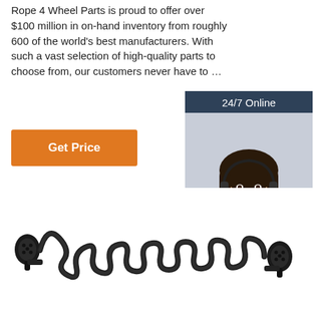Rope 4 Wheel Parts is proud to offer over $100 million in on-hand inventory from roughly 600 of the world's best manufacturers. With such a vast selection of high-quality parts to choose from, our customers never have to …
Get Price
[Figure (photo): 24/7 Online chat widget with a photo of a smiling female customer service representative wearing a headset, with 'Click here for free chat!' text and an orange QUOTATION button]
[Figure (photo): Black spiral/coiled cable with connector plugs on each end, shown horizontally against a white background]